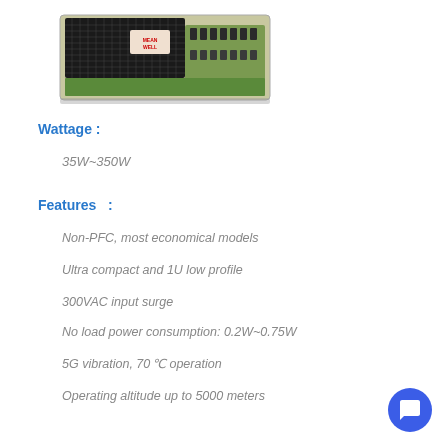[Figure (photo): Power supply unit - compact rectangular switching power supply with mesh top, terminal blocks, and green PCB visible from above at an angle.]
Wattage :
35W~350W
Features   :
Non-PFC, most economical models
Ultra compact and 1U low profile
300VAC input surge
No load power consumption: 0.2W~0.75W
5G vibration, 70°C operation
Operating altitude up to 5000 meters